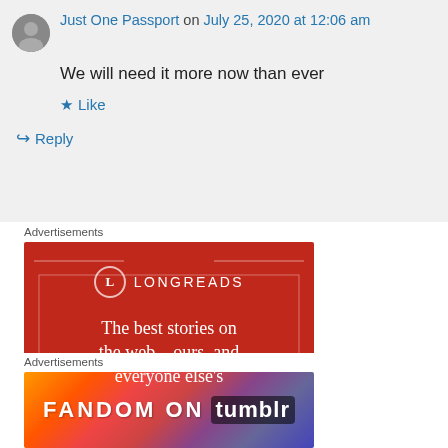Just One Passport on July 25, 2020 at 12:06 am
We will need it more now than ever
Like
Reply
Advertisements
[Figure (illustration): Longreads advertisement banner: red background with Longreads logo (circle with L) and text 'The best stories on the web – ours, and everyone else's']
Advertisements
[Figure (illustration): Fandom on Tumblr advertisement banner with colorful gradient background (orange to purple) and bold text 'FANDOM ON tumblr']